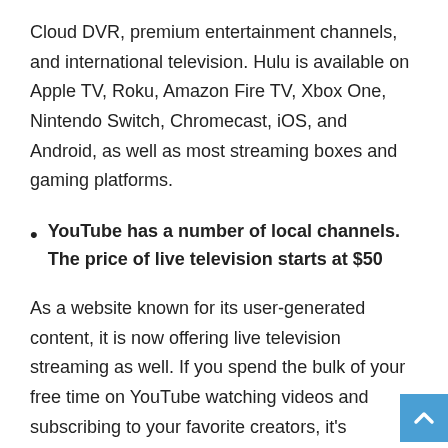Cloud DVR, premium entertainment channels, and international television. Hulu is available on Apple TV, Roku, Amazon Fire TV, Xbox One, Nintendo Switch, Chromecast, iOS, and Android, as well as most streaming boxes and gaming platforms.
YouTube has a number of local channels. The price of live television starts at $50
As a website known for its user-generated content, it is now offering live television streaming as well. If you spend the bulk of your free time on YouTube watching videos and subscribing to your favorite creators, it's understandable that live television is just a click away. YouTube TV provides a number of different channels depending on your geographic location, which includes multiple accounts for a single household as well as an unlimited Cloud DVR. There are also add-ons available for premium channels in certain states, such as